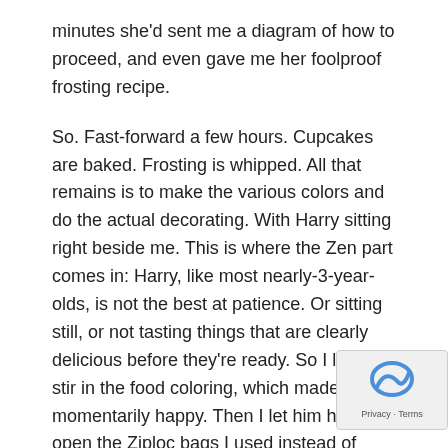minutes she'd sent me a diagram of how to proceed, and even gave me her foolproof frosting recipe.
So. Fast-forward a few hours. Cupcakes are baked. Frosting is whipped. All that remains is to make the various colors and do the actual decorating. With Harry sitting right beside me. This is where the Zen part comes in: Harry, like most nearly-3-year-olds, is not the best at patience. Or sitting still, or not tasting things that are clearly delicious before they're ready. So I let him stir in the food coloring, which made him momentarily happy. Then I let him hold open the Ziploc bags I used instead of pastry bags, while I loaded in the colored frostings. (I know I have a set of bags & tips somewhere, but for the life of me I just couldn't find them. Improvisation was necessary.)
Meanwhile, Harry had spied the container of green gel pa... And as anyone who knows him—and even some people w... don't—can tell you, green is his favorite color. Junior was ready...